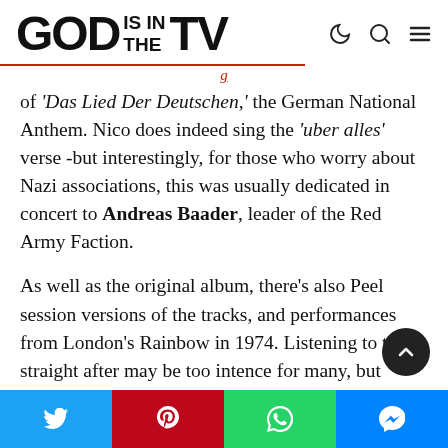GOD IS IN THE TV
of 'Das Lied Der Deutschen,' the German National Anthem. Nico does indeed sing the 'uber alles' verse -but interestingly, for those who worry about Nazi associations, this was usually dedicated in concert to Andreas Baader, leader of the Red Army Faction.
As well as the original album, there's also Peel session versions of the tracks, and performances from London's Rainbow in 1974. Listening to these straight after may be too intence for many, but there's no doubt that these are not mere filler.
Social share bar: Twitter, Pinterest, WhatsApp, Messenger